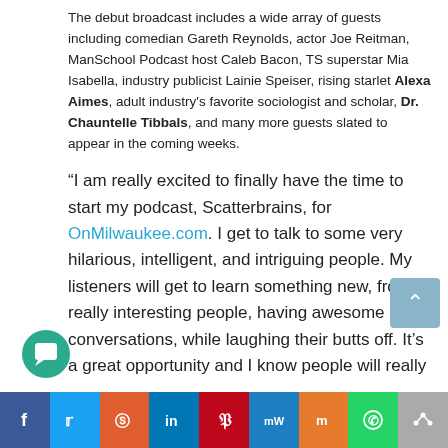The debut broadcast includes a wide array of guests including comedian Gareth Reynolds, actor Joe Reitman, ManSchool Podcast host Caleb Bacon, TS superstar Mia Isabella, industry publicist Lainie Speiser, rising starlet Alexa Aimes, adult industry's favorite sociologist and scholar, Dr. Chauntelle Tibbals, and many more guests slated to appear in the coming weeks.
“I am really excited to finally have the time to start my podcast, Scatterbrains, for OnMilwaukee.com. I get to talk to some very hilarious, intelligent, and intriguing people. My listeners will get to learn something new, from really interesting people, having awesome conversations, while laughing their butts off. It’s a great opportunity and I know people will really
f  t  r  in  P  mW  m  [WhatsApp icon]  [Share icon]